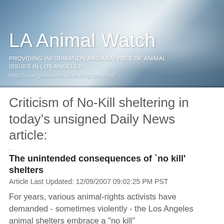[Figure (photo): Blue-grey cloudy sky or water splash background image used as header banner for LA Animal Watch blog]
LA Animal Watch
PROVIDING INFORMATION AND ANALYSES OF ANIMAL ISSUES IN LOS ANGELES
http://losanglesveterinarian.blogspot.com/
Criticism of No-Kill sheltering in today’s unsigned Daily News article:
.
The unintended consequences of `no kill' shelters
Article Last Updated: 12/09/2007 09:02:25 PM PST
For years, various animal-rights activists have demanded - sometimes violently - the Los Angeles animal shelters embrace a "no kill"